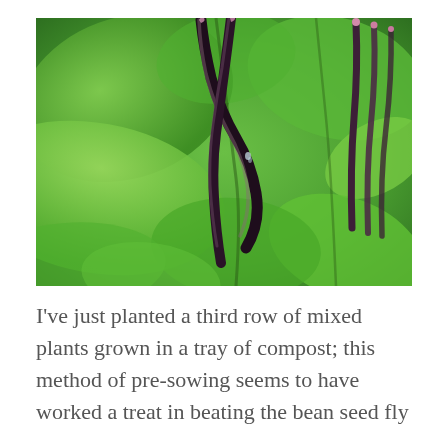[Figure (photo): Close-up photo of dark purple/black bean pods hanging among green leaves on a bean plant]
I've just planted a third row of mixed plants grown in a tray of compost; this method of pre-sowing seems to have worked a treat in beating the bean seed fly problem, and produced healthy plants.